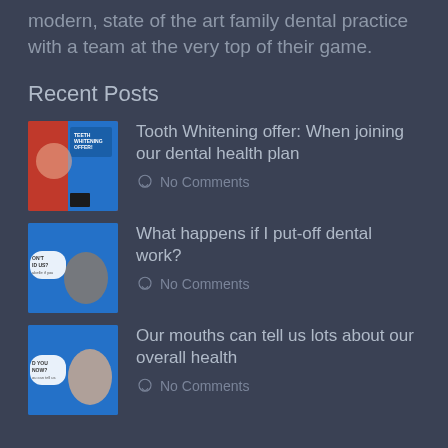modern, state of the art family dental practice with a team at the very top of their game.
Recent Posts
[Figure (photo): Thumbnail image for teeth whitening offer post - woman in red top with teeth whitening advertisement]
Tooth Whitening offer: When joining our dental health plan
No Comments
[Figure (photo): Thumbnail image for dental work post - man in white shirt with speech bubble]
What happens if I put-off dental work?
No Comments
[Figure (photo): Thumbnail image for oral health post - woman with surprised expression]
Our mouths can tell us lots about our overall health
No Comments